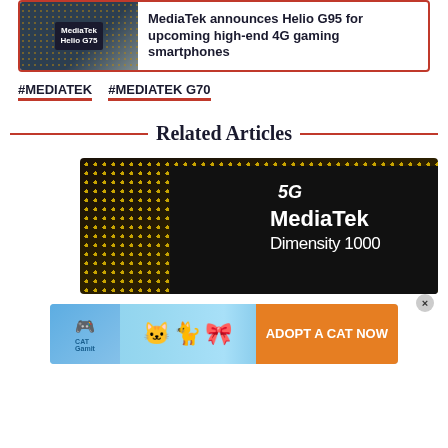[Figure (screenshot): Article card with MediaTek Helio G75 chip image and title 'MediaTek announces Helio G95 for upcoming high-end 4G gaming smartphones']
#MEDIATEK   #MEDIATEK G70
Related Articles
[Figure (photo): MediaTek Dimensity 1000 5G chip photograph on dark background with gold dot matrix pattern]
[Figure (photo): Advertisement banner: Cat game ad with cartoon cats and 'ADOPT A CAT NOW' call to action]